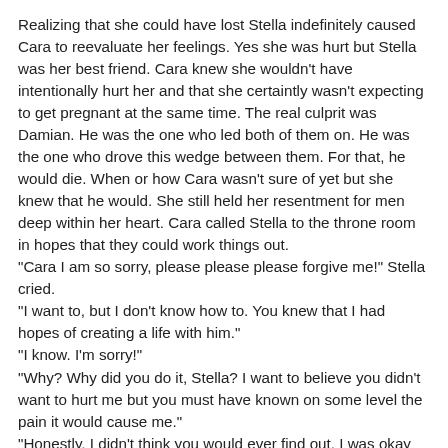Realizing that she could have lost Stella indefinitely caused Cara to reevaluate her feelings. Yes she was hurt but Stella was her best friend. Cara knew she wouldn't have intentionally hurt her and that she certaintly wasn't expecting to get pregnant at the same time. The real culprit was Damian. He was the one who led both of them on. He was the one who drove this wedge between them. For that, he would die. When or how Cara wasn't sure of yet but she knew that he would. She still held her resentment for men deep within her heart. Cara called Stella to the throne room in hopes that they could work things out.
"Cara I am so sorry, please please please forgive me!" Stella cried.
"I want to, but I don't know how to. You knew that I had hopes of creating a life with him."
"I know. I'm sorry!"
"Why? Why did you do it, Stella? I want to believe you didn't want to hurt me but you must have known on some level the pain it would cause me."
"Honestly, I didn't think you would ever find out. I was okay with being the other woman as long as I was able to be something to him. I love him, Cara."